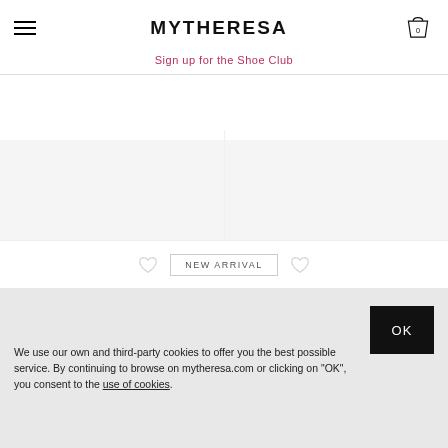MYTHERESA
Sign up for the Shoe Club
[Figure (other): Balenciaga product image placeholder (white/light grey area)]
BALENCIAGA
¥ 135,300
[Figure (other): Alexander McQueen product image placeholder (white/light grey area)]
ALEXANDER MCQUEEN
¥ 90,200
NEW ARRIVAL
We use our own and third-party cookies to offer you the best possible service. By continuing to browse on mytheresa.com or clicking on "OK", you consent to the use of cookies.